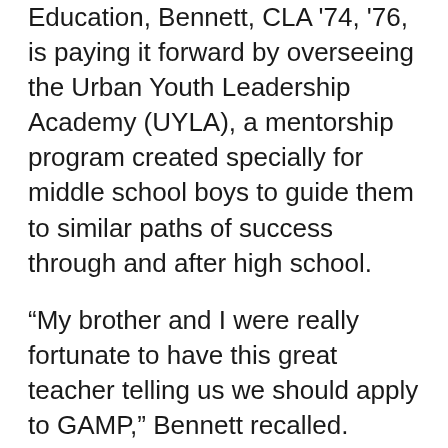Education, Bennett, CLA '74, '76, is paying it forward by overseeing the Urban Youth Leadership Academy (UYLA), a mentorship program created specially for middle school boys to guide them to similar paths of success through and after high school.
“My brother and I were really fortunate to have this great teacher telling us we should apply to GAMP,” Bennett recalled. “There are a lot of students who come from inner cities who could take those kinds of opportunities. But there’s no opportunity if it’s not known.”
Bennett, who played football for a North Philadelphia club team through high